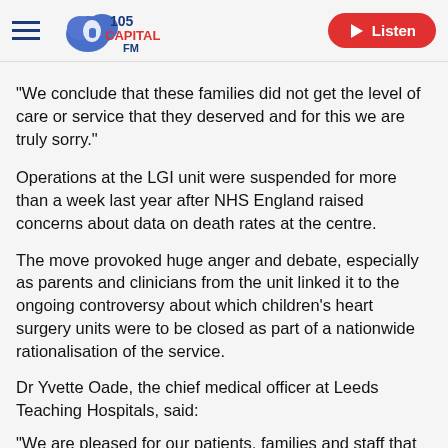105 Capital FM | Listen
"We conclude that these families did not get the level of care or service that they deserved and for this we are truly sorry."
Operations at the LGI unit were suspended for more than a week last year after NHS England raised concerns about data on death rates at the centre.
The move provoked huge anger and debate, especially as parents and clinicians from the unit linked it to the ongoing controversy about which children's heart surgery units were to be closed as part of a nationwide rationalisation of the service.
Dr Yvette Oade, the chief medical officer at Leeds Teaching Hospitals, said:
"We are pleased for our patients, families and staff that the